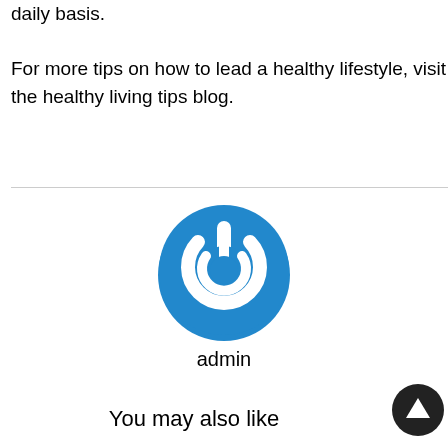daily basis.

For more tips on how to lead a healthy lifestyle, visit the healthy living tips blog.
[Figure (logo): Blue power/admin icon — a circular power button symbol in blue and white]
admin
You may also like